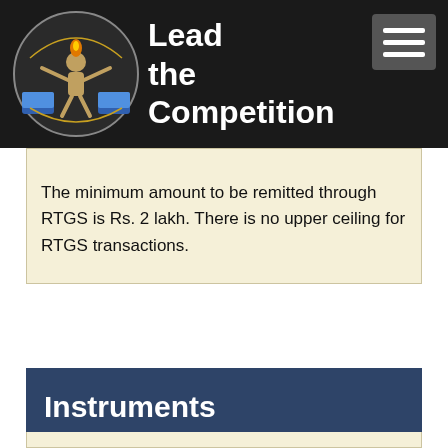Lead the Competition
The minimum amount to be remitted through RTGS is Rs. 2 lakh. There is no upper ceiling for RTGS transactions.
Instruments